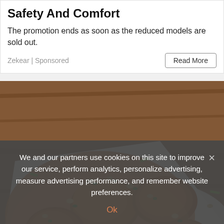Safety And Comfort
The promotion ends as soon as the reduced models are sold out.
Zekear | Sponsored
[Figure (photo): Close-up photo of cooked chicken pieces garnished with chopped peanuts and fresh herbs (parsley/cilantro and green onions), served on a white rectangular plate on a wooden surface. The dish appears to be chicken in a peanut sauce.]
We and our partners use cookies on this site to improve our service, perform analytics, personalize advertising, measure advertising performance, and remember website preferences.
Ok